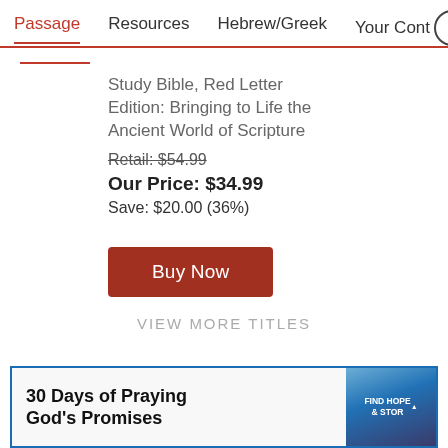Passage   Resources   Hebrew/Greek   Your Cont >
Study Bible, Red Letter Edition: Bringing to Life the Ancient World of Scripture
Retail: $54.99
Our Price: $34.99
Save: $20.00 (36%)
Buy Now
VIEW MORE TITLES
30 Days of Praying God's Promises